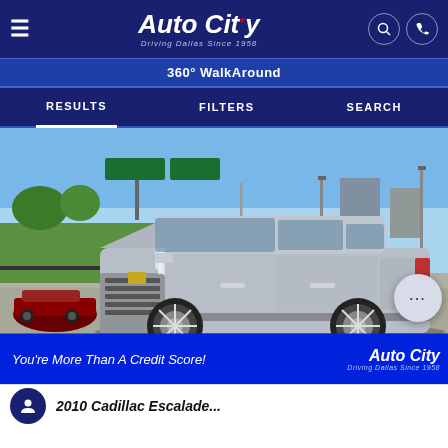Auto City - Driving Dallas Since 1958
360° WalkAround
RESULTS  FILTERS  SEARCH
[Figure (photo): Silver Cadillac Escalade SUV parked at Auto City dealership lot with highway overpass and trees in background. Blue promo strip at bottom reads 'You're More Than A Credit Score!' with Auto City logo.]
2010 Cadillac Escalade...